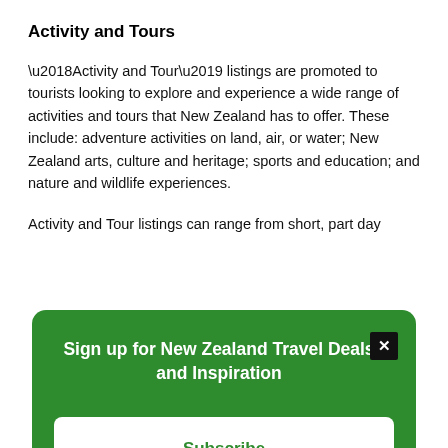Activity and Tours
‘Activity and Tour’ listings are promoted to tourists looking to explore and experience a wide range of activities and tours that New Zealand has to offer. These include: adventure activities on land, air, or water; New Zealand arts, culture and heritage; sports and education; and nature and wildlife experiences.
Activity and Tour listings can range from short, part day
[Figure (other): Modal popup overlay with dark green background. Title: 'Sign up for New Zealand Travel Deals and Inspiration'. Contains a close button (X) in the top right corner and a white Subscribe button at the bottom.]